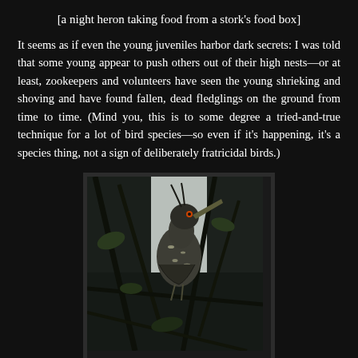[a night heron taking food from a stork's food box]
It seems as if even the young juveniles harbor dark secrets: I was told that some young appear to push others out of their high nests—or at least, zookeepers and volunteers have seen the young shrieking and shoving and have found fallen, dead fledglings on the ground from time to time. (Mind you, this is to some degree a tried-and-true technique for a lot of bird species—so even if it's happening, it's a species thing, not a sign of deliberately fratricidal birds.)
[Figure (photo): A young night heron perched among tangled branches and leaves, photographed in low light conditions from below looking upward.]